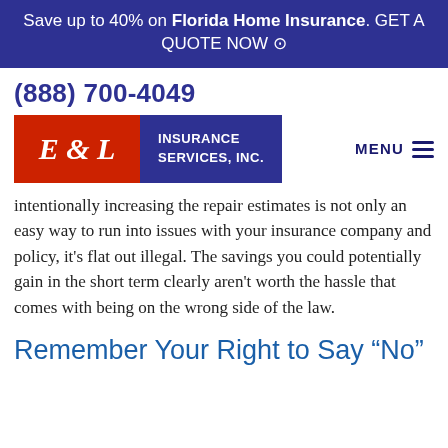Save up to 40% on Florida Home Insurance. GET A QUOTE NOW ⊙
(888) 700-4049
[Figure (logo): E&L Insurance Services, Inc. logo with red E&L block and blue text block]
intentionally increasing the repair estimates is not only an easy way to run into issues with your insurance company and policy, it's flat out illegal. The savings you could potentially gain in the short term clearly aren't worth the hassle that comes with being on the wrong side of the law.
Remember Your Right to Say “No”